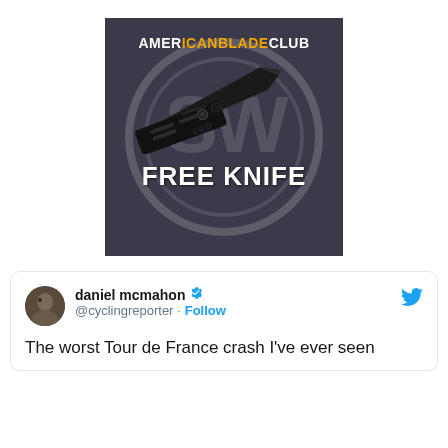[Figure (photo): American Blade Club advertisement showing a black tactical folding knife with text 'AMERICAN BLADE CLUB' at top and 'FREE KNIFE' at bottom, on a dark metallic background with a circular logo]
daniel mcmahon @cyclingreporter · Follow
The worst Tour de France crash I've ever seen